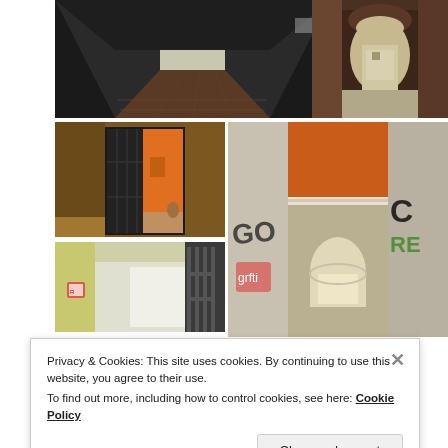[Figure (photo): Dark narrow corridor/alleyway leading to an outdoor courtyard with daylight at the end, brick floor, grey walls]
[Figure (photo): Arched passageway/tunnel leading to an outdoor alley, brick architecture, dark interior]
[Figure (photo): Interior doorway with black grid door opened, view of orange building courtyard beyond]
[Figure (photo): Interior hallway with orange ceiling, white ornate molding, graffiti on walls, arched exit at end]
[Figure (photo): Corridor with yellow walls, security gate partially open, signage on wall, leading to open area]
Privacy & Cookies: This site uses cookies. By continuing to use this website, you agree to their use.
To find out more, including how to control cookies, see here: Cookie Policy
Close and accept